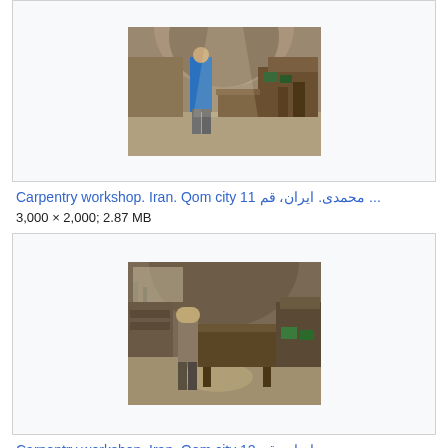[Figure (photo): Carpentry workshop interior in Qom city, Iran. A person in a blue shirt stands in a vaulted workshop with wooden furniture and tools around.]
Carpentry workshop. Iran. Qom city 11 محمدی. ایران، قم ...
3,000 × 2,000; 2.87 MB
[Figure (photo): Carpentry workshop interior in Qom city, Iran. View of workshop with wooden workbenches, tools, and green containers visible inside a vaulted space.]
Carpentry workshop. Iran. Qom city 12 محمدی. ایران، قم ...
3,000 × 2,000; 5.14 MB